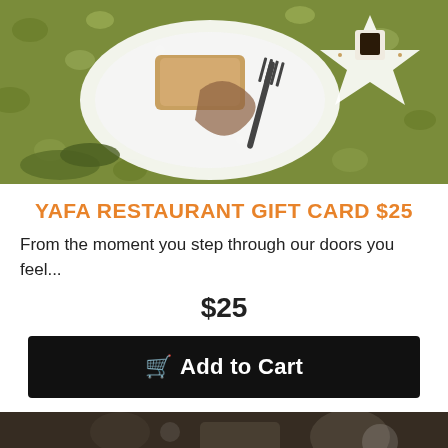[Figure (photo): Overhead photo of food on a decorative yellow/green patterned tablecloth with a fork, white plate with food, and a star-shaped dish with a cup of dark coffee]
YAFA RESTAURANT GIFT CARD $25
From the moment you step through our doors you feel...
$25
Add to Cart
[Figure (photo): Blurred restaurant kitchen scene with colorful seafood/shrimp dishes in the foreground and kitchen equipment in the background]